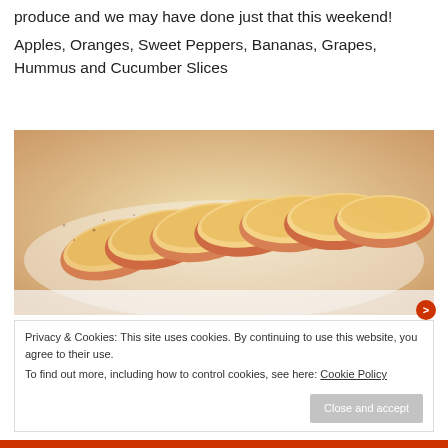From time to time we go a little crazy buying produce and we may have done just that this weekend!
Apples, Oranges, Sweet Peppers, Bananas, Grapes, Hummus and Cucumber Slices
[Figure (photo): Close-up photo of sliced apples arranged on a white plate, with cinnamon or spices visible on the surface.]
Privacy & Cookies: This site uses cookies. By continuing to use this website, you agree to their use. To find out more, including how to control cookies, see here: Cookie Policy
Close and accept